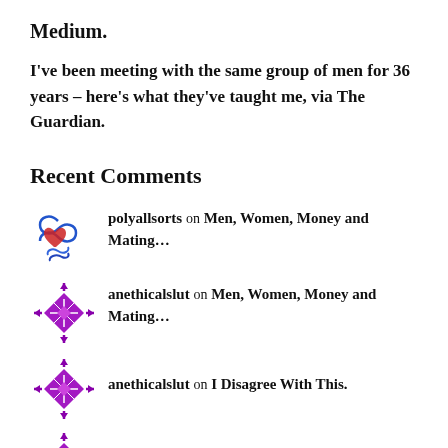Medium.
I've been meeting with the same group of men for 36 years – here's what they've taught me, via The Guardian.
Recent Comments
polyallsorts on Men, Women, Money and Mating…
anethicalslut on Men, Women, Money and Mating…
anethicalslut on I Disagree With This.
anethicalslut on I Disagree With This.